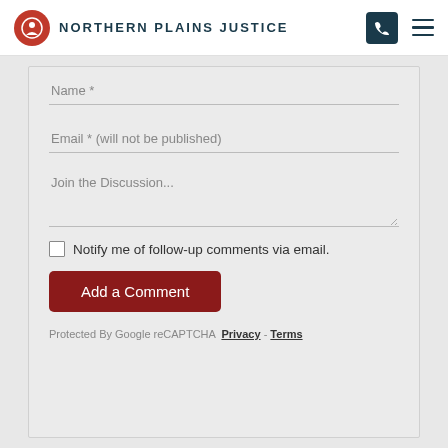NORTHERN PLAINS JUSTICE
Name *
Email * (will not be published)
Join the Discussion...
Notify me of follow-up comments via email.
Add a Comment
Protected By Google reCAPTCHA Privacy - Terms